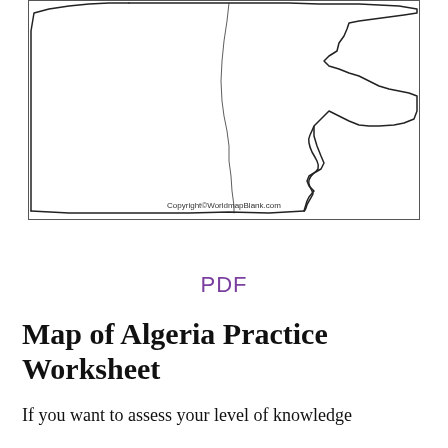[Figure (map): Partial outline map of Algeria showing country borders, with copyright notice 'Copyright©WorldmapBlank.com' at the bottom of the map box.]
PDF
Map of Algeria Practice Worksheet
If you want to assess your level of knowledge